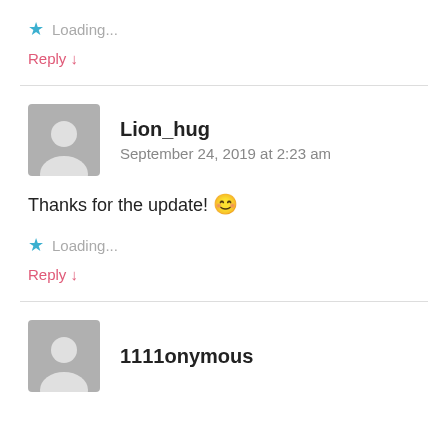★ Loading...
Reply ↓
Lion_hug
September 24, 2019 at 2:23 am
Thanks for the update! 😊
★ Loading...
Reply ↓
1111onymous